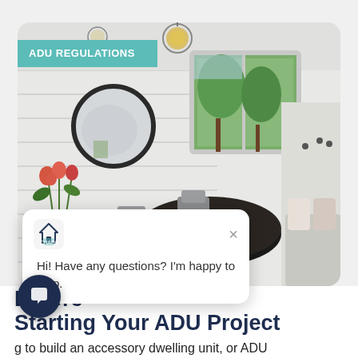[Figure (photo): Interior photo of a bright, modern ADU dining area with round dark table, chairs, round mirror, windows with a view of green trees outside, and a built-in bench with pillows on the right. White shiplap walls and pendant lighting.]
ADU REGULATIONS
[Figure (screenshot): Chat popup overlay showing a house/chat logo, a close X button, and text: Hi! Have any questions? I'm happy to help.]
Hi! Have any questions? I'm happy to help.
Before Starting Your ADU Project
g to build an accessory dwelling unit, or ADU e daunting. With every city and state having its own unique building requirements, restrictions, and